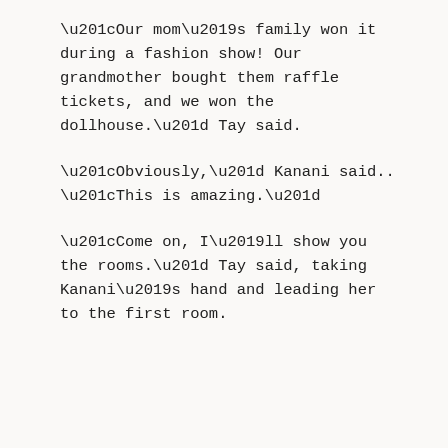“Our mom’s family won it during a fashion show! Our grandmother bought them raffle tickets, and we won the dollhouse.” Tay said.
“Obviously,” Kanani said.. “This is amazing.”
“Come on, I’ll show you the rooms.” Tay said, taking Kanani’s hand and leading her to the first room.